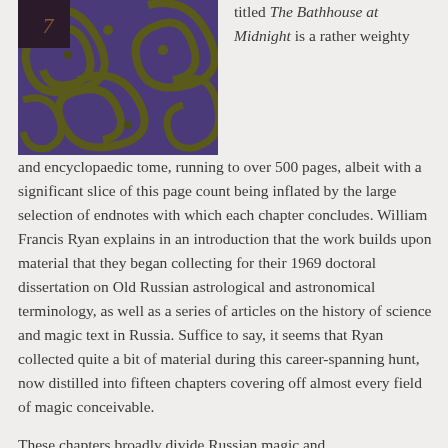[Figure (photo): Book cover of 'The Bathhouse at Midnight' with dark purple and olive green swirling decorative pattern and a small dark square with the number 7 in the upper left corner.]
titled The Bathhouse at Midnight is a rather weighty and encyclopaedic tome, running to over 500 pages, albeit with a significant slice of this page count being inflated by the large selection of endnotes with which each chapter concludes. William Francis Ryan explains in an introduction that the work builds upon material that they began collecting for their 1969 doctoral dissertation on Old Russian astrological and astronomical terminology, as well as a series of articles on the history of science and magic text in Russia. Suffice to say, it seems that Ryan collected quite a bit of material during this career-spanning hunt, now distilled into fifteen chapters covering off almost every field of magic conceivable.
These chapters broadly divide Russian magic and